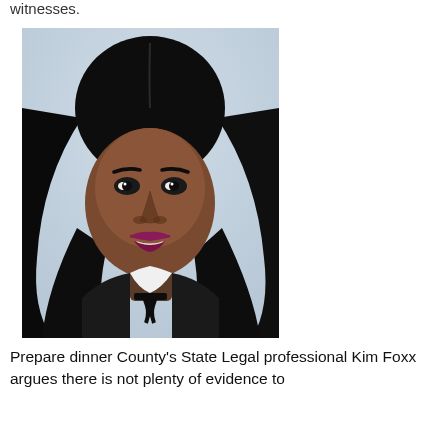witnesses.
[Figure (photo): Close-up photo of a Black woman with long dark hair, wearing a black outfit with a white collar detail, speaking or addressing someone. The background is blurred and light blue/grey.]
Prepare dinner County's State Legal professional Kim Foxx argues there is not plenty of evidence to